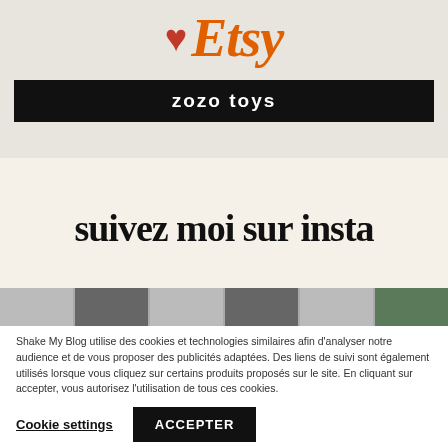[Figure (logo): Etsy logo with red heart and orange Etsy text, below a black bar with 'zozo toys' in white]
suivez moi sur insta
[Figure (photo): Strip of Instagram photos partially visible]
Shake My Blog utilise des cookies et technologies similaires afin d'analyser notre audience et de vous proposer des publicités adaptées. Des liens de suivi sont également utilisés lorsque vous cliquez sur certains produits proposés sur le site. En cliquant sur accepter, vous autorisez l'utilisation de tous ces cookies.
Cookie settings
ACCEPTER